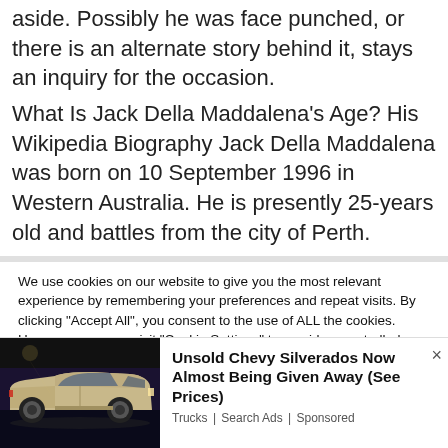aside. Possibly he was face punched, or there is an alternate story behind it, stays an inquiry for the occasion.
What Is Jack Della Maddalena's Age? His Wikipedia Biography Jack Della Maddalena was born on 10 September 1996 in Western Australia. He is presently 25-years old and battles from the city of Perth.
We use cookies on our website to give you the most relevant experience by remembering your preferences and repeat visits. By clicking "Accept All", you consent to the use of ALL the cookies. However, you may visit "Cookie Settings" to provide a controlled consent.
[Figure (photo): Advertisement photo of a Chevy Silverado truck (beige/tan color) at what appears to be an auto show, dark background]
Unsold Chevy Silverados Now Almost Being Given Away (See Prices)
Trucks | Search Ads | Sponsored